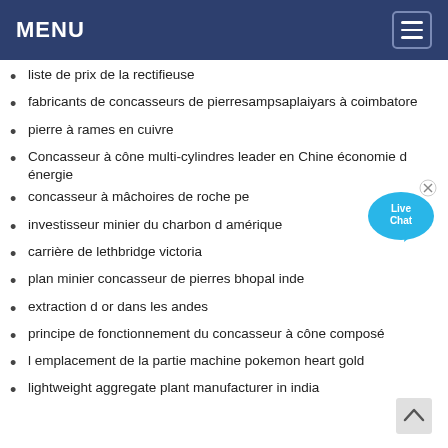MENU
liste de prix de la rectifieuse
fabricants de concasseurs de pierresampsaplaiyars à coimbatore
pierre à rames en cuivre
Concasseur à cône multi-cylindres leader en Chine économie d énergie
concasseur à mâchoires de roche pe
investisseur minier du charbon d amérique
carrière de lethbridge victoria
plan minier concasseur de pierres bhopal inde
extraction d or dans les andes
principe de fonctionnement du concasseur à cône composé
l emplacement de la partie machine pokemon heart gold
lightweight aggregate plant manufacturer in india